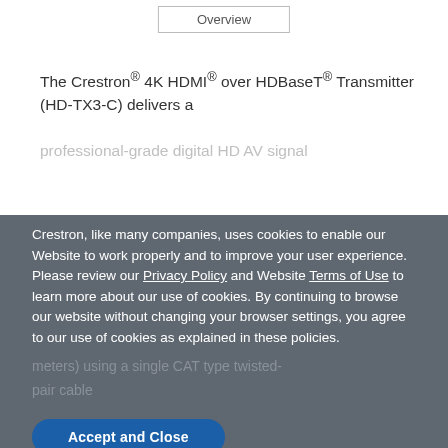Overview
The Crestron® 4K HDMI® over HDBaseT® Transmitter (HD-TX3-C) delivers a professional-grade digital HD AV signal
Crestron, like many companies, uses cookies to enable our Website to work properly and to improve your user experience. Please review our Privacy Policy and Website Terms of Use to learn more about our use of cookies. By continuing to browse our website without changing your browser settings, you agree to our use of cookies as explained in these policies.
Accept and Close
meters) using a single CAT type twisted-pair cable...
NOTE: When paired with the HD-RX3